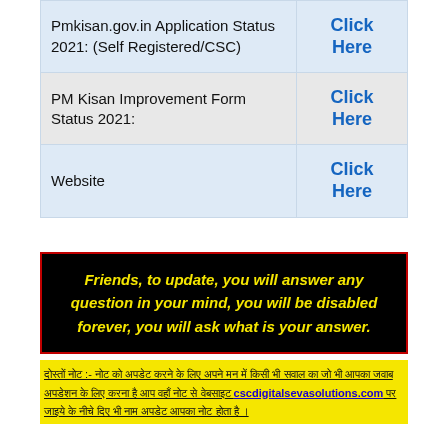| Description | Link |
| --- | --- |
| Pmkisan.gov.in Application Status 2021: (Self Registered/CSC) | Click Here |
| PM Kisan Improvement Form Status 2021: | Click Here |
| Website | Click Here |
Friends, to update, you will answer any question in your mind, you will be disabled forever, you will ask what is your answer.
दोस्तों नोट :- नोट को अपडेट करने के लिए अपने मन में किसी भी सवाल का जो भी आपका जवाब अपडेशन के लिए करना है आप वहाँ नोट से वेबसाइट cscdigitalsevasolutions.com पर जाइये के नीचे दिए भी नाम अपडेट आपका नोट होता है ।